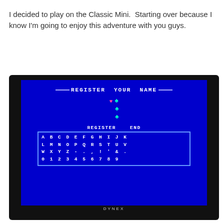I decided to play on the Classic Mini.  Starting over because I know I'm going to enjoy this adventure with you guys.
[Figure (screenshot): Photo of a Dynex TV/monitor showing a classic NES game 'Register Your Name' screen on a blue background, displaying a character selection grid with letters A-Z and numbers 0-9, with a heart icon and three character slots visible.]